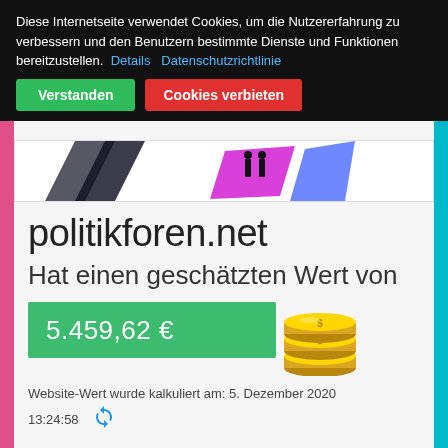Diese Internetseite verwendet Cookies, um die Nutzererfahrung zu verbessern und den Benutzern bestimmte Dienste und Funktionen bereitzustellen. Details Datenschutzrichtlinie
Verstanden | Cookies verbieten
[Figure (illustration): Website screenshot banner with geometric shapes and figures]
politikforen.net
Hat einen geschätzten Wert von
5.459,62 €
[Figure (illustration): Stack of gold coins illustration]
Website-Wert wurde kalkuliert am: 5. Dezember 2020 13:24:58